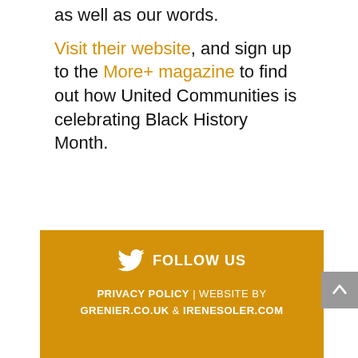as well as our words. Visit their website, and sign up to the More+ magazine to find out how United Communities is celebrating Black History Month.
FOLLOW US | PRIVACY POLICY | WEBSITE BY GRENIER.CO.UK & IRENESOLER.COM